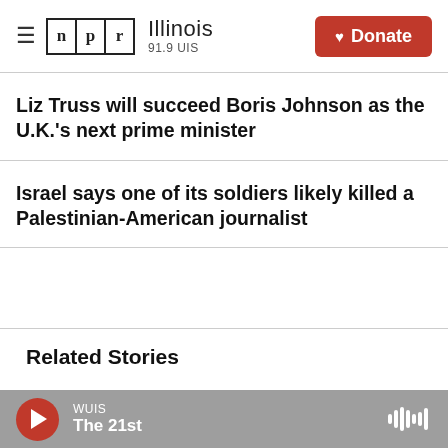NPR Illinois 91.9 UIS — Donate
Liz Truss will succeed Boris Johnson as the U.K.'s next prime minister
Israel says one of its soldiers likely killed a Palestinian-American journalist
Related Stories
WUIS — The 21st